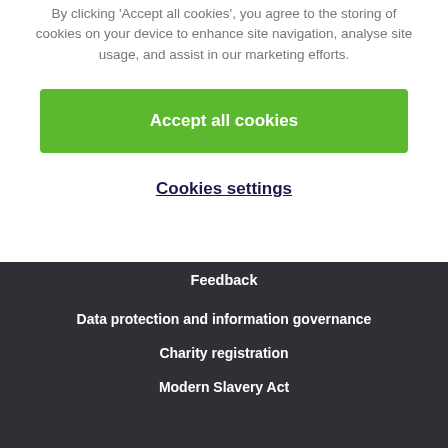By clicking 'Accept all cookies', you agree to the storing of cookies on your device to enhance site navigation, analyse site usage, and assist in our marketing efforts.
Accept all cookies
Cookies settings
Feedback
Data protection and information governance
Charity registration
Modern Slavery Act